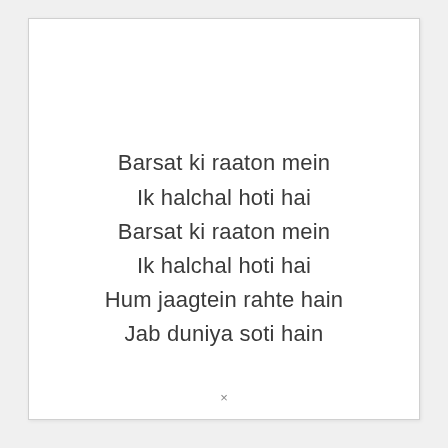Barsat ki raaton mein
Ik halchal hoti hai
Barsat ki raaton mein
Ik halchal hoti hai
Hum jaagtein rahte hain
Jab duniya soti hain
×